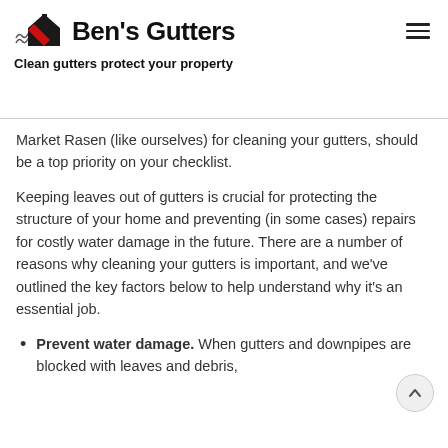[Figure (logo): Ben's Gutters logo with stylized house/gutter icon and bold text]
Clean gutters protect your property
Market Rasen (like ourselves) for cleaning your gutters, should be a top priority on your checklist.
Keeping leaves out of gutters is crucial for protecting the structure of your home and preventing (in some cases) repairs for costly water damage in the future. There are a number of reasons why cleaning your gutters is important, and we've outlined the key factors below to help understand why it's an essential job.
Prevent water damage. When gutters and downpipes are blocked with leaves and debris,